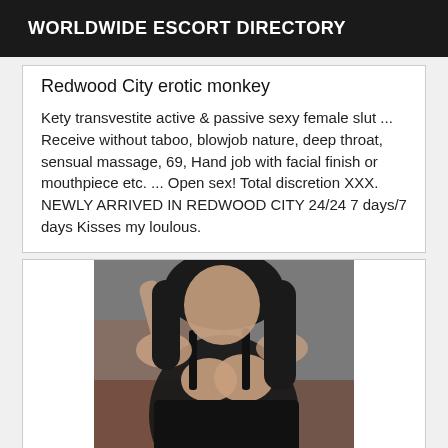WORLDWIDE ESCORT DIRECTORY
Redwood City erotic monkey
Kety transvestite active & passive sexy female slut ... Receive without taboo, blowjob nature, deep throat, sensual massage, 69, Hand job with facial finish or mouthpiece etc. ... Open sex! Total discretion XXX. NEWLY ARRIVED IN REDWOOD CITY 24/24 7 days/7 days Kisses my loulous.
[Figure (photo): Photo of a person wearing a black top]